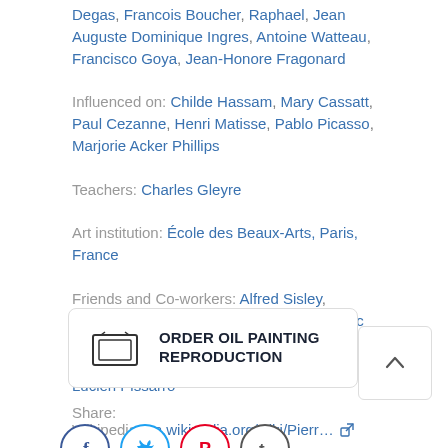Degas, Francois Boucher, Raphael, Jean Auguste Dominique Ingres, Antoine Watteau, Francisco Goya, Jean-Honore Fragonard
Influenced on: Childe Hassam, Mary Cassatt, Paul Cezanne, Henri Matisse, Pablo Picasso, Marjorie Acker Phillips
Teachers: Charles Gleyre
Art institution: École des Beaux-Arts, Paris, France
Friends and Co-workers: Alfred Sisley, Claude Monet, Amedeo Modigliani, Frederic Bazille, Camille Pissarro, Suzanne Valadon, Gustave Caillebotte, Martín Rico y Ortega, Lucien Pissarro
Wikipedia: en.wikipedia.org/wiki/Pierr...
ORDER OIL PAINTING REPRODUCTION
Share: